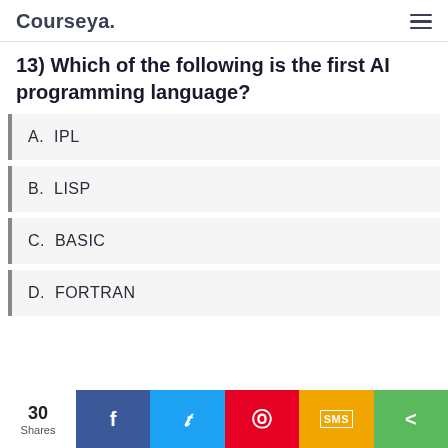Courseya.
13) Which of the following is the first AI programming language?
A.  IPL
B.  LISP
C.  BASIC
D.  FORTRAN
30 Shares  Facebook  Twitter  Pinterest  SMS  Share